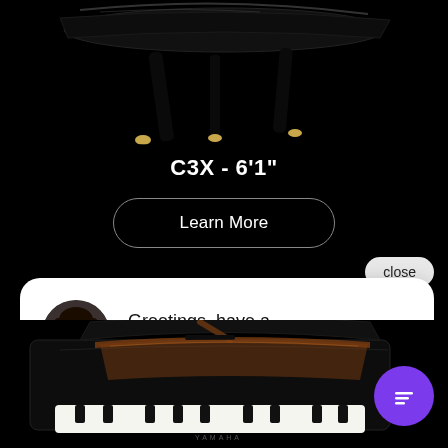[Figure (photo): Black grand piano legs and body from above, photographed against black background]
C3X - 6'1"
Learn More
close
Greetings, have a question? Text us here.
[Figure (photo): Black grand piano photographed from front angle showing open lid and wooden interior, against black background]
[Figure (illustration): Purple circular chat/SMS icon button]